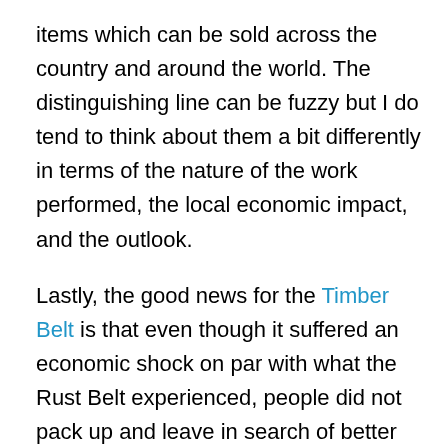items which can be sold across the country and around the world. The distinguishing line can be fuzzy but I do tend to think about them a bit differently in terms of the nature of the work performed, the local economic impact, and the outlook.
Lastly, the good news for the Timber Belt is that even though it suffered an economic shock on par with what the Rust Belt experienced, people did not pack up and leave in search of better opportunities. Now, some did and Oregon lost population in the early 1980s, but overall this has not been the case. This influx of new residents is good news. People are voting with their feet, saying they want to live in our communities. This also helps support the local economy. For example,